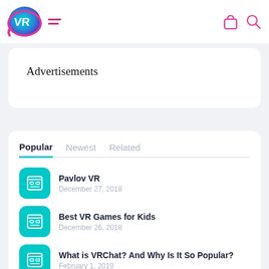[Figure (logo): VR logo with teal and pink gradient, circular shape with 'VR' text]
Advertisements
Popular | Newest | Related
Pavlov VR
December 27, 2018
Best VR Games for Kids
December 26, 2018
What is VRChat? And Why Is It So Popular?
February 1, 2019
Moss VR Game